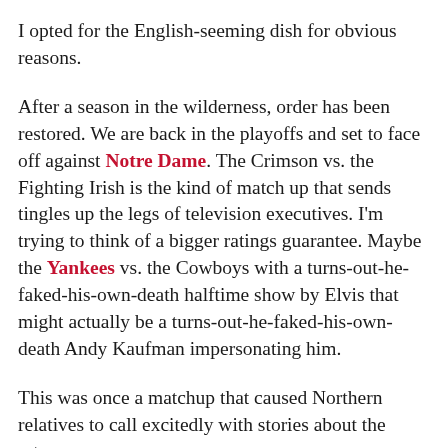I opted for the English-seeming dish for obvious reasons.
After a season in the wilderness, order has been restored. We are back in the playoffs and set to face off against Notre Dame. The Crimson vs. the Fighting Irish is the kind of match up that sends tingles up the legs of television executives. I'm trying to think of a bigger ratings guarantee. Maybe the Yankees vs. the Cowboys with a turns-out-he-faked-his-own-death halftime show by Elvis that might actually be a turns-out-he-faked-his-own-death Andy Kaufman impersonating him.
This was once a matchup that caused Northern relatives to call excitedly with stories about the return